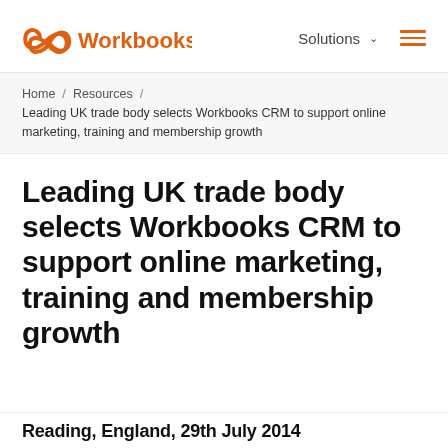Workbooks — Solutions
Home / Resources / Leading UK trade body selects Workbooks CRM to support online marketing, training and membership growth
Leading UK trade body selects Workbooks CRM to support online marketing, training and membership growth
Reading, England, 29th July 2014